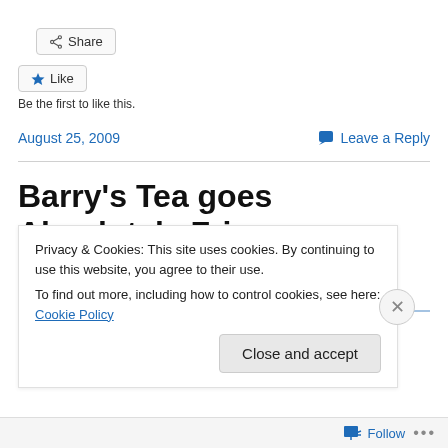[Figure (other): Share button with share icon]
[Figure (other): Like button with star icon]
Be the first to like this.
August 25, 2009
Leave a Reply
Barry's Tea goes Absolutely Fringe
Privacy & Cookies: This site uses cookies. By continuing to use this website, you agree to their use.
To find out more, including how to control cookies, see here: Cookie Policy
Close and accept
Follow